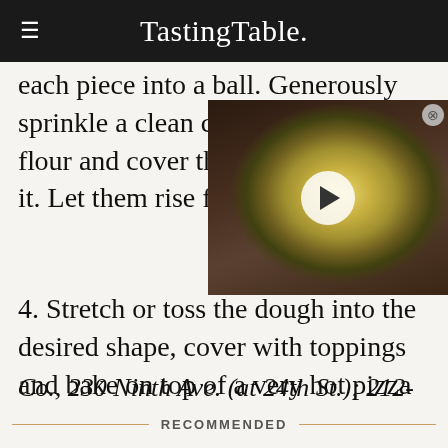Tasting Table.
each piece into a ball. Generously sprinkle a clean cotton towel with f… dough balls with it. Let th… hours.
[Figure (photo): Video thumbnail of a bowl of hummus or mashed potato dish with olive oil and herbs, with a play button overlay]
4. Stretch or toss the dough into the desired shape, cover with toppings and bake on top of a very hot pizza stone.
Co., 230 Ninth Ave. (at 24th St.); 212-243-1105 or co-pane.com
RECOMMENDED